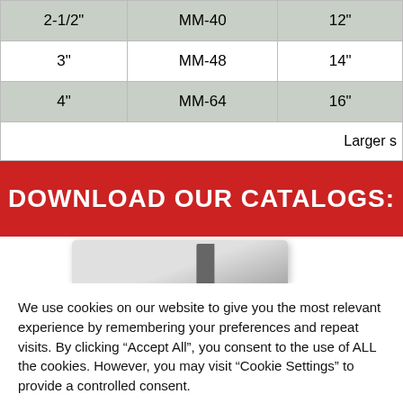| 2-1/2" | MM-40 | 12" |
| 3" | MM-48 | 14" |
| 4" | MM-64 | 16" |
|  |  | Larger s |
DOWNLOAD OUR CATALOGS:
[Figure (photo): Partial image of a product catalog booklet]
We use cookies on our website to give you the most relevant experience by remembering your preferences and repeat visits. By clicking "Accept All", you consent to the use of ALL the cookies. However, you may visit "Cookie Settings" to provide a controlled consent.